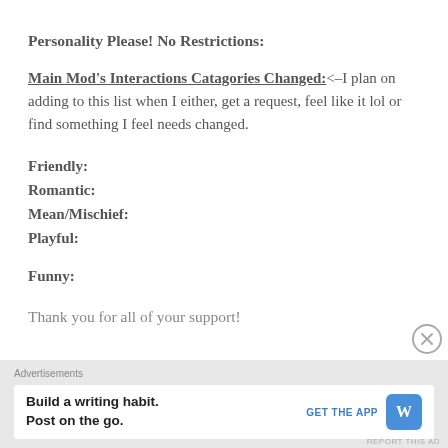Personality Please! No Restrictions:
Main Mod's Interactions Catagories Changed:<–I plan on adding to this list when I either, get a request, feel like it lol or find something I feel needs changed.
Friendly:
Romantic:
Mean/Mischief:
Playful:
Funny:
Thank you for all of your support!
Advertisements
Build a writing habit. Post on the go.
GET THE APP